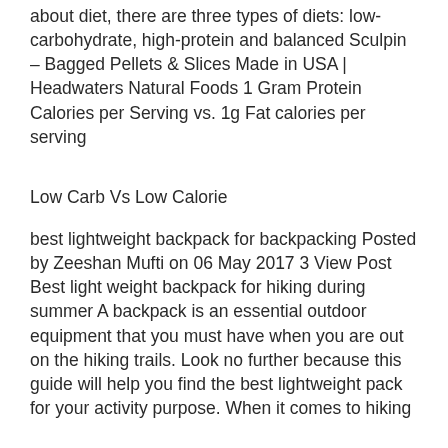about diet, there are three types of diets: low-carbohydrate, high-protein and balanced Sculpin – Bagged Pellets & Slices Made in USA | Headwaters Natural Foods 1 Gram Protein Calories per Serving vs. 1g Fat calories per serving
Low Carb Vs Low Calorie
best lightweight backpack for backpacking Posted by Zeeshan Mufti on 06 May 2017 3 View Post Best light weight backpack for hiking during summer A backpack is an essential outdoor equipment that you must have when you are out on the hiking trails. Look no further because this guide will help you find the best lightweight pack for your activity purpose. When it comes to hiking